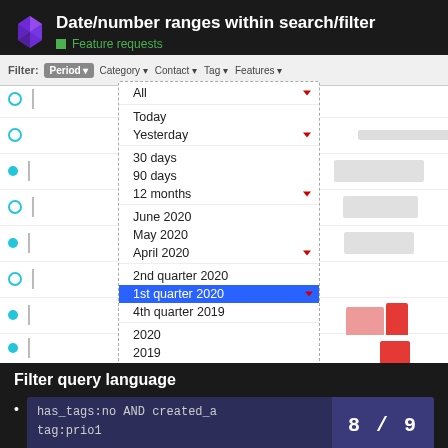Date/number ranges within search/filter
Feature requests
[Figure (screenshot): UI screenshot showing a filter bar with a dropdown menu expanded under 'Period'. Dropdown items: All, Today, Yesterday, 30 days, 90 days, 12 months, June 2020, May 2020, April 2020, 2nd quarter 2020, 1st quarter 2020 (selected/highlighted in blue), 4th quarter 2019, 2020, 2019, 2018. Background shows blurred data rows with colored dots and bar charts on the right side.]
Filter query language
has_tags:no AND created_a tag:prio1
8 / 9